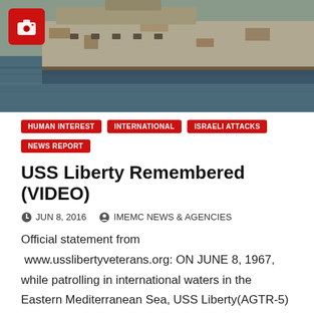[Figure (photo): A weathered, rusted ship hull partially visible above dark blue-green water, photographed from close range.]
HUMAN INTEREST
INTERNATIONAL
ISRAELI ATTACKS
NEWS REPORT
USS Liberty Remembered (VIDEO)
JUN 8, 2016   IMEMC NEWS & AGENCIES
Official statement from  www.usslibertyveterans.org: ON JUNE 8, 1967, while patrolling in international waters in the Eastern Mediterranean Sea, USS Liberty(AGTR-5) was savagely attacked without warning or justification by air and naval…